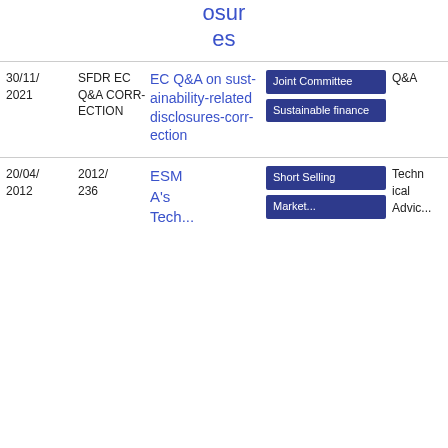osures
| Date | Reference | Title | Tags | Type | Download |
| --- | --- | --- | --- | --- | --- |
| 30/11/2021 | SFDR EC Q&A CORRECTION | EC Q&A on sustainability-related disclosures-correction | Joint Committee | Sustainable finance | Q&A | PDF 87.19 KB |
| 20/04/2012 | 2012/236 | ESMA's Tech... | Short Selling | Market... | Technical Advice | PDF |